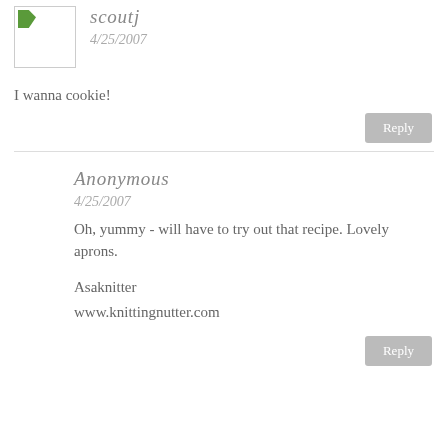scoutj
4/25/2007
I wanna cookie!
Reply
Anonymous
4/25/2007
Oh, yummy - will have to try out that recipe. Lovely aprons.
Asaknitter
www.knittingnutter.com
Reply